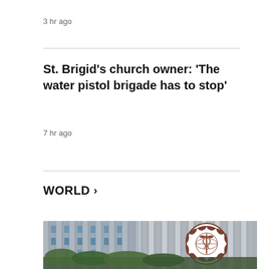3 hr ago
St. Brigid's church owner: 'The water pistol brigade has to stop'
7 hr ago
WORLD >
[Figure (photo): Exterior photograph of the WHO (World Health Organization) building facade, showing vertical metal pillars/grilles and the WHO emblem (circular logo with caduceus and world map surrounded by laurel wreath) mounted on the right side. Green foliage visible at the bottom.]